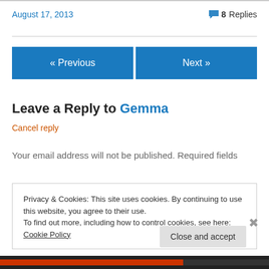August 17, 2013
8 Replies
« Previous
Next »
Leave a Reply to Gemma
Cancel reply
Your email address will not be published. Required fields
Privacy & Cookies: This site uses cookies. By continuing to use this website, you agree to their use.
To find out more, including how to control cookies, see here: Cookie Policy
Close and accept